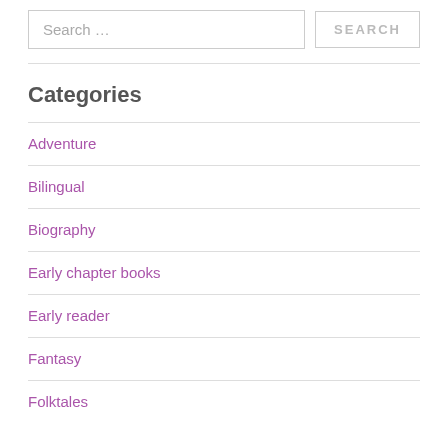Search …
Categories
Adventure
Bilingual
Biography
Early chapter books
Early reader
Fantasy
Folktales